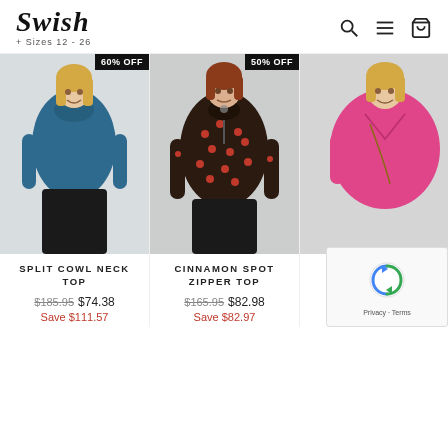[Figure (logo): Swish logo with script font, subtitle '+ Sizes 12 - 26']
[Figure (photo): Woman wearing teal/blue split cowl neck top, with '60% OFF' badge]
SPLIT COWL NECK TOP
$185.95  $74.38
Save $111.57
[Figure (photo): Woman wearing dark floral cinnamon spot zipper top, with '50% OFF' badge]
CINNAMON SPOT ZIPPER TOP
$165.95  $82.98
Save $82.97
[Figure (photo): Woman wearing bright pink V neck top, partially visible]
V NECK ... TO...
$139...